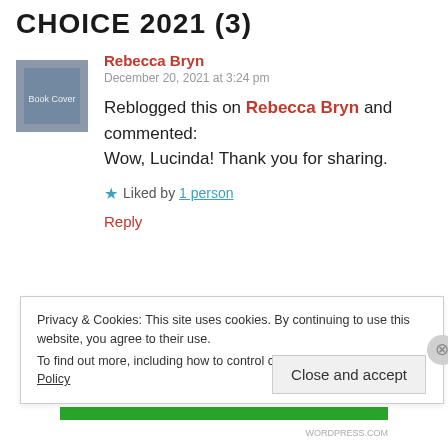CHOICE 2021 (3)
Rebecca Bryn
December 20, 2021 at 3:24 pm
Reblogged this on Rebecca Bryn and commented:
Wow, Lucinda! Thank you for sharing.
★ Liked by 1 person
Reply
Privacy & Cookies: This site uses cookies. By continuing to use this website, you agree to their use.
To find out more, including how to control cookies, see here: Cookie Policy
Close and accept